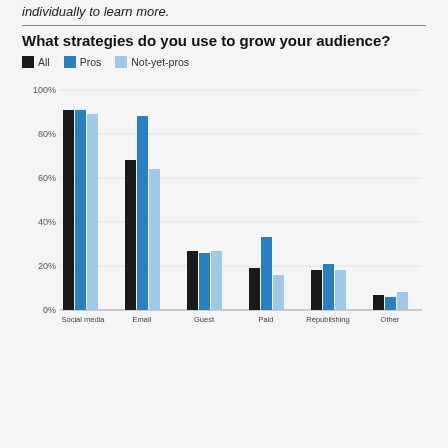individually to learn more.
What strategies do you use to grow your audience?
Legend: All, Pros, Not-yet-pros
[Figure (grouped-bar-chart): What strategies do you use to grow your audience?]